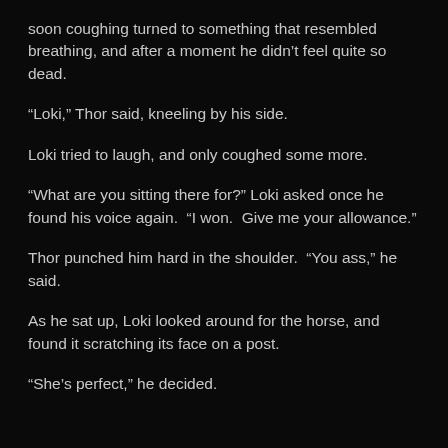soon coughing turned to something that resembled breathing, and after a moment he didn't feel quite so dead.
“Loki,” Thor said, kneeling by his side.
Loki tried to laugh, and only coughed some more.
“What are you sitting there for?” Loki asked once he found his voice again.  “I won.  Give me your allowance.”
Thor punched him hard in the shoulder.  “You ass,” he said.
As he sat up, Loki looked around for the horse, and found it scratching its face on a post.
“She’s perfect,” he decided.